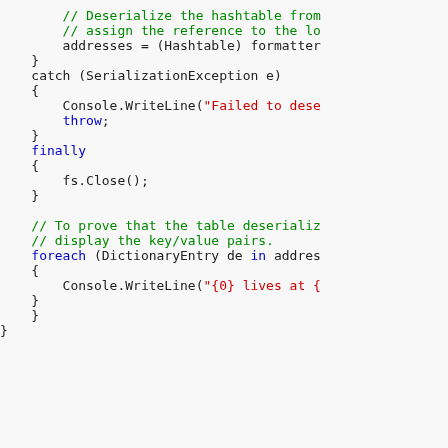[Figure (screenshot): Code editor screenshot showing C# code with catch/finally blocks and a foreach loop for deserializing a hashtable and displaying key/value pairs.]